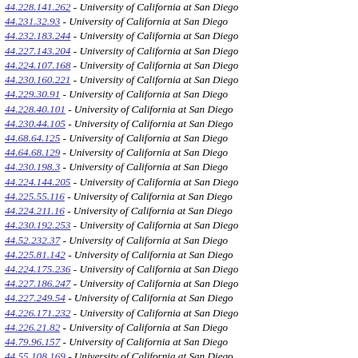44.228.141.262 - University of California at San Diego
44.231.32.93 - University of California at San Diego
44.232.183.244 - University of California at San Diego
44.227.143.204 - University of California at San Diego
44.224.107.168 - University of California at San Diego
44.230.160.221 - University of California at San Diego
44.229.30.91 - University of California at San Diego
44.228.40.101 - University of California at San Diego
44.230.44.105 - University of California at San Diego
44.68.64.125 - University of California at San Diego
44.64.68.129 - University of California at San Diego
44.230.198.3 - University of California at San Diego
44.224.144.205 - University of California at San Diego
44.225.55.116 - University of California at San Diego
44.224.211.16 - University of California at San Diego
44.230.192.253 - University of California at San Diego
44.52.232.37 - University of California at San Diego
44.225.81.142 - University of California at San Diego
44.224.175.236 - University of California at San Diego
44.227.186.247 - University of California at San Diego
44.227.249.54 - University of California at San Diego
44.226.171.232 - University of California at San Diego
44.226.21.82 - University of California at San Diego
44.79.96.157 - University of California at San Diego
44.55.108.169 - University of California at San Diego
76.89.84.145 - Time Warner Cable Internet LLC
44.64.115.176 - University of California at San Diego
44.39.35.96 - University of California at San Diego
44.37.72.133 - University of California at San Diego
44.77.145.206 - University of California at San Diego
44.149.146.207 - University of California at San Diego